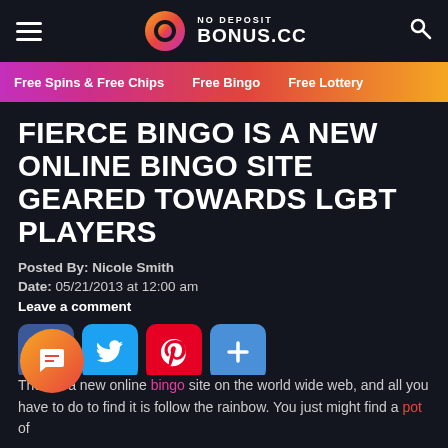NO DEPOSIT BONUS.CC
Free Spins & Free Chips | Free Bingo | Free Lottery
FIERCE BINGO IS A NEW ONLINE BINGO SITE GEARED TOWARDS LGBT PLAYERS
Posted By: Nicole Smith
Date: 05/21/2013 at 12:00 am
Leave a comment
[Figure (other): Social share buttons: Facebook, Twitter, Pinterest, More]
There's a new online bingo site on the world wide web, and all you have to do to find it is follow the rainbow. You just might find a pot of